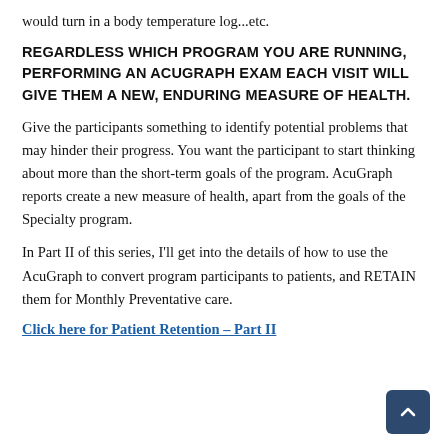would turn in a body temperature log...etc.
REGARDLESS WHICH PROGRAM YOU ARE RUNNING, PERFORMING AN ACUGRAPH EXAM EACH VISIT WILL GIVE THEM A NEW, ENDURING MEASURE OF HEALTH.
Give the participants something to identify potential problems that may hinder their progress. You want the participant to start thinking about more than the short-term goals of the program. AcuGraph reports create a new measure of health, apart from the goals of the Specialty program.
In Part II of this series, I'll get into the details of how to use the AcuGraph to convert program participants to patients, and RETAIN them for Monthly Preventative care.
Click here for Patient Retention – Part II